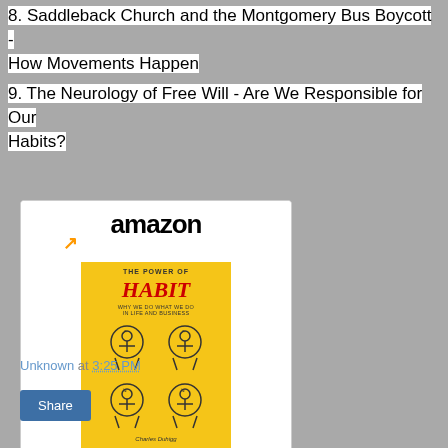8. Saddleback Church and the Montgomery Bus Boycott - How Movements Happen
9. The Neurology of Free Will - Are We Responsible for Our Habits?
[Figure (other): Amazon product widget showing 'The Power of Habit: Why We...' book priced at $19.78 with Prime badge and Shop now button]
Unknown at 3:25 PM
Share